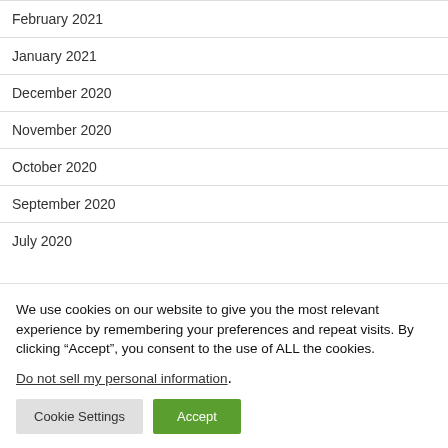February 2021
January 2021
December 2020
November 2020
October 2020
September 2020
July 2020
We use cookies on our website to give you the most relevant experience by remembering your preferences and repeat visits. By clicking “Accept”, you consent to the use of ALL the cookies.
Do not sell my personal information.
Cookie Settings | Accept